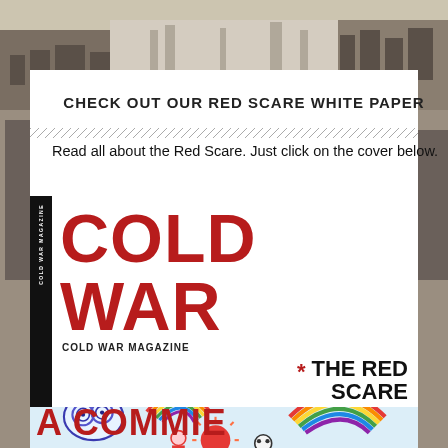[Figure (photo): Black and white background photograph of a building/military scene]
CHECK OUT OUR RED SCARE WHITE PAPER
Read all about the Red Scare. Just click on the cover below.
[Figure (illustration): Cold War Magazine cover featuring large red 'COLD WAR' title, 'THE RED SCARE' headline with asterisk, colorful children's drawings of figures with rainbows, and 'Eye Spy A COMMIE' text at the bottom]